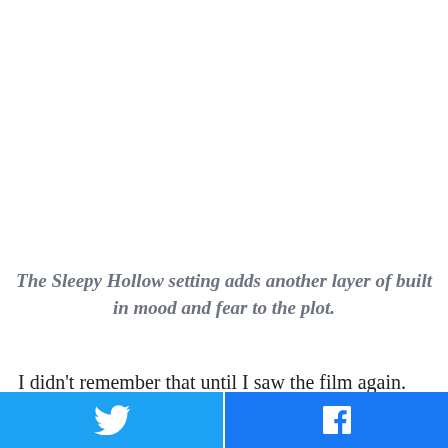The Sleepy Hollow setting adds another layer of built in mood and fear to the plot.
I didn't remember that until I saw the film again. But I had